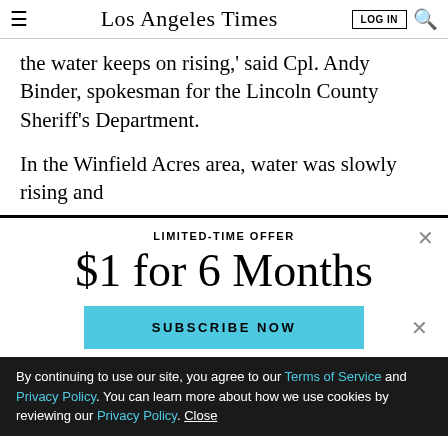Los Angeles Times
the water keeps on rising,' said Cpl. Andy Binder, spokesman for the Lincoln County Sheriff's Department.
In the Winfield Acres area, water was slowly rising and
LIMITED-TIME OFFER
$1 for 6 Months
SUBSCRIBE NOW
By continuing to use our site, you agree to our Terms of Service and Privacy Policy. You can learn more about how we use cookies by reviewing our Privacy Policy. Close